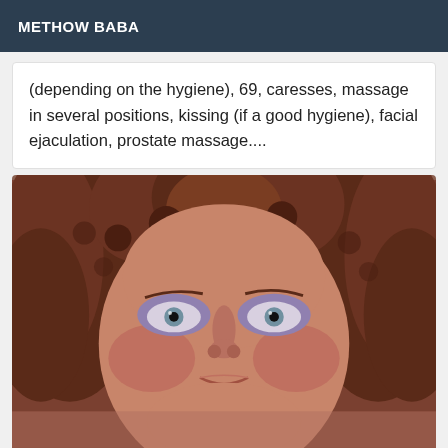METHOW BABA
(depending on the hygiene), 69, caresses, massage in several positions, kissing (if a good hygiene), facial ejaculation, prostate massage....
[Figure (photo): Close-up portrait of a woman with curly reddish-brown hair, blue/grey eyes, and purple eye shadow, looking directly at the camera.]